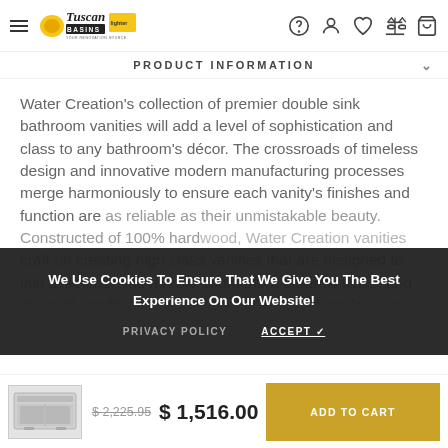Tuscan Basins - Your Renovation Source - Header navigation with hamburger, logo, help, account, wishlist, compare, cart icons
PRODUCT INFORMATION
Water Creation's collection of premier double sink bathroom vanities will add a level of sophistication and class to any bathroom's décor. The crossroads of timeless design and innovative modern manufacturing processes merge harmoniously to ensure each vanity's finishes and function are as reliable as their unmistakable beauty. Constructed of 100% hardwood, Water Creation vanities craft on creating high-class vanities that are designed to last a lifetime. The marble countertop, ceramic sinks, and elegantly crafted doors and drawers all lend credence to the durability and superior craftsmanship that Water Creation is known for.
We Use Cookies To Ensure That We Give You The Best Experience On Our Website!
PRIVACY POLICY   ACCEPT ✓
[Figure (photo): Thumbnail image of a white bathroom vanity cabinet]
$ 2,225.95  $ 1,516.00
ADD TO CART